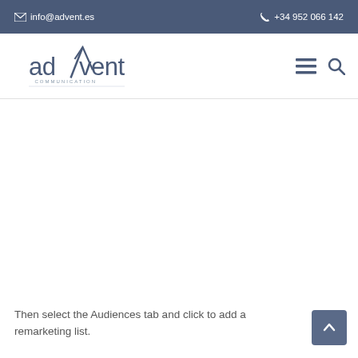info@advent.es   +34 952 066 142
[Figure (logo): Advent Communication logo with stylized 'advent' text and checkmark/slash graphic]
Then select the Audiences tab and click to add a remarketing list.